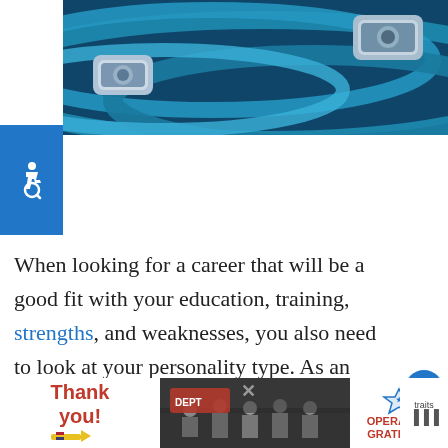[Figure (photo): Close-up photo of blue cables or hoses with metallic connectors against dark background]
[Figure (logo): Accessibility icon — white wheelchair symbol on blue square background]
When looking for a career that will be a good fit with your education, training, strengths, and weaknesses, you also need to look at your personality type. As an INFJ, knowing which INFJ jobs to avoid will save you a lot of time, effort, and frustration.
INFJ is one of the 16 personality types as classified by the Myers-Briggs Type Indicator
[Figure (infographic): Advertisement bar at bottom: Thank you text with American flags, firefighters group photo, Operation Gratitude logo, and partial text 'traits']